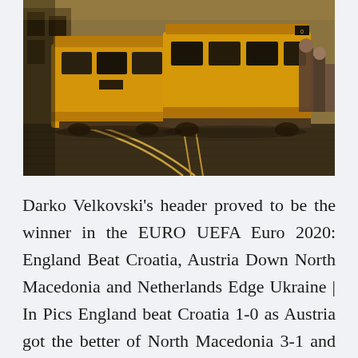[Figure (photo): A street scene with yellow vintage trams/streetcars crossing on cobblestone tracks. People visible on the right side boarding or near a tram. Warm sepia/golden toned photograph.]
Darko Velkovski's header proved to be the winner in the EURO UEFA Euro 2020: England Beat Croatia, Austria Down North Macedonia and Netherlands Edge Ukraine | In Pics England beat Croatia 1-0 as Austria got the better of North Macedonia 3-1 and Netherlands beat Ukraine 3-2 in UEFA Euro 2020. UEFA Euro 2020 odds, picks, predictions: Soccer expert reveals best bets for Austria vs. North Macedonia Martin Green has generated nearly $19,000 for $100